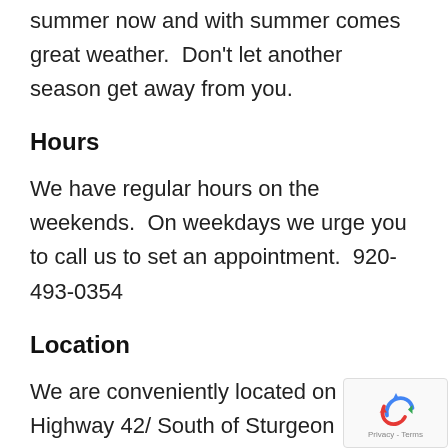summer now and with summer comes great weather.  Don't let another season get away from you.
Hours
We have regular hours on the weekends.  On weekdays we urge you to call us to set an appointment.  920-493-0354
Location
We are conveniently located on Highway 42/ South of Sturgeon Bay between Emerald Dri